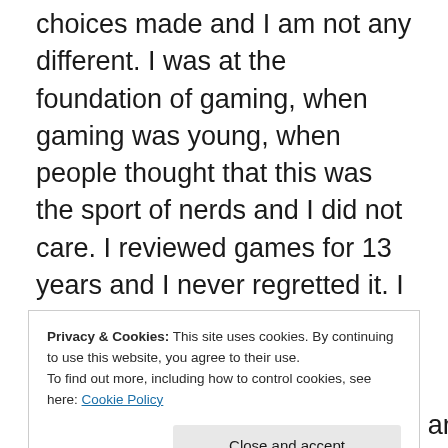choices made and I am not any different. I was at the foundation of gaming, when gaming was young, when people thought that this was the sport of nerds and I did not care. I reviewed games for 13 years and I never regretted it. I was there when Commodore release the CBM64 and the Amiga 500. Sony released the PlayStation, I was there when Nintendo released the N64 and the GameCube. I had the Sony PlayStation 2 on day one, I saw with amazement when the SEGA Dreamcast was released. I saw an amazing range of games and systems, even now I think back to how great gaming was
Privacy & Cookies: This site uses cookies. By continuing to use this website, you agree to their use. To find out more, including how to control cookies, see here: Cookie Policy
Close and accept
and we see some Zombie game and the list goes on, they